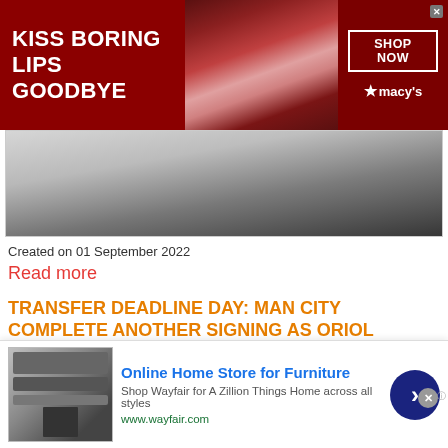[Figure (photo): Macy's advertisement banner: dark red background with 'KISS BORING LIPS GOODBYE' text, woman with red lipstick, SHOP NOW button and Macy's logo]
[Figure (photo): Partial article image showing cropped photo, appears to be sports related]
Created on 01 September 2022
Read more
TRANSFER DEADLINE DAY: MAN CITY COMPLETE ANOTHER SIGNING AS ORIOL ROMEU LEAVES ENGLAND
[Figure (photo): Dark image of a person (appears to be a bald man) celebrating or reacting, dark background]
[Figure (photo): Wayfair advertisement: Online Home Store for Furniture, shows kitchen appliances image, with Shop Wayfair for A Zillion Things Home across all styles, www.wayfair.com, blue arrow button]